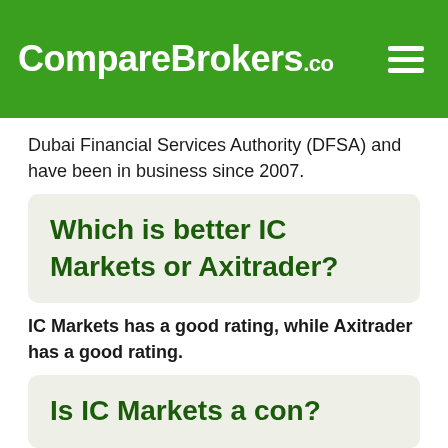CompareBrokers.co
Dubai Financial Services Authority (DFSA) and have been in business since 2007.
Which is better IC Markets or Axitrader?
IC Markets has a good rating, while Axitrader has a good rating.
Is IC Markets a con?
IC Markets is regulated by Australian Securities and Investments Commission (ASIC), Financial Services Authority (FSA), Cyprus Securities and Exchange Commission (CySEC)